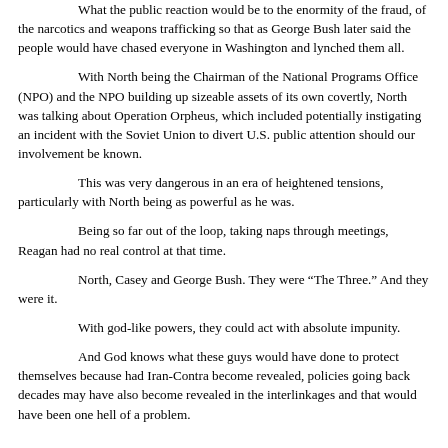What the public reaction would be to the enormity of the fraud, of the narcotics and weapons trafficking so that as George Bush later said the people would have chased everyone in Washington and lynched them all.
With North being the Chairman of the National Programs Office (NPO) and the NPO building up sizeable assets of its own covertly, North was talking about Operation Orpheus, which included potentially instigating an incident with the Soviet Union to divert U.S. public attention should our involvement be known.
This was very dangerous in an era of heightened tensions, particularly with North being as powerful as he was.
Being so far out of the loop, taking naps through meetings, Reagan had no real control at that time.
North, Casey and George Bush. They were “The Three.” And they were it.
With god-like powers, they could act with absolute impunity.
And God knows what these guys would have done to protect themselves because had Iran-Contra become revealed, policies going back decades may have also become revealed in the interlinkages and that would have been one hell of a problem.